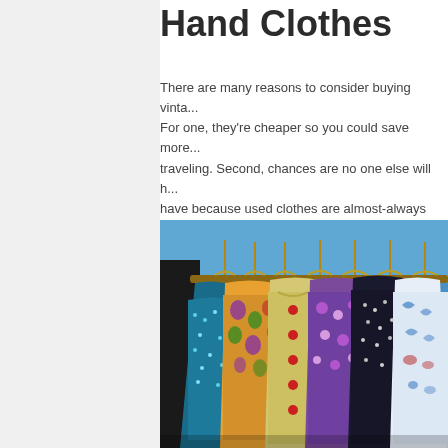Hand Clothes
There are many reasons to consider buying vinta... For one, they're cheaper so you could save more... traveling. Second, chances are no one else will h... have because used clothes are almost-always so... Third, it's actually quite exciting to search for that... potential to be your next fashion treasure.
[Figure (photo): A rack of colorful vintage/second-hand clothes on wooden hangers at what appears to be an outdoor market or thrift shop.]